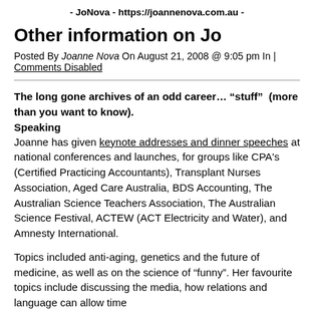- JoNova - https://joannenova.com.au -
Other information on Jo
Posted By Joanne Nova On August 21, 2008 @ 9:05 pm In | Comments Disabled
The long gone archives of an odd career… “stuff”  (more than you want to know).
Speaking
Joanne has given keynote addresses and dinner speeches at national conferences and launches, for groups like CPA's (Certified Practicing Accountants), Transplant Nurses Association, Aged Care Australia, BDS Accounting, The Australian Science Teachers Association, The Australian Science Festival, ACTEW (ACT Electricity and Water), and Amnesty International.
Topics included anti-aging, genetics and the future of medicine, as well as on the science of “funny”. Her favourite topics include discussing the media, how relations and language can allow time